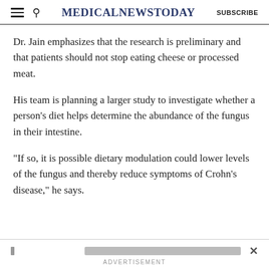MedicalNewsToday  SUBSCRIBE
Dr. Jain emphasizes that the research is preliminary and that patients should not stop eating cheese or processed meat.
His team is planning a larger study to investigate whether a person’s diet helps determine the abundance of the fungus in their intestine.
“If so, it is possible dietary modulation could lower levels of the fungus and thereby reduce symptoms of Crohn’s disease,” he says.
ADVERTISEMENT